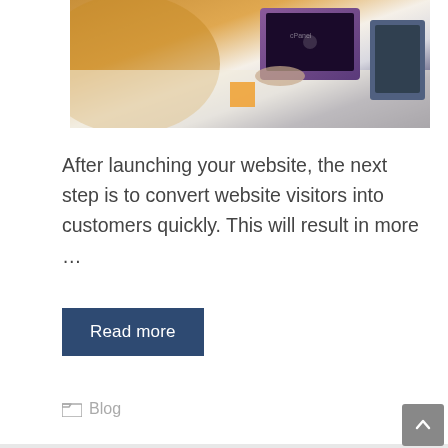[Figure (photo): Partial view of a workspace with a purple Apple laptop and other devices on a desk, warm orange lighting in background]
After launching your website, the next step is to convert website visitors into customers quickly. This will result in more ...
Read more
Blog
Benefits of Artificial Intelligence
by Shari Torres